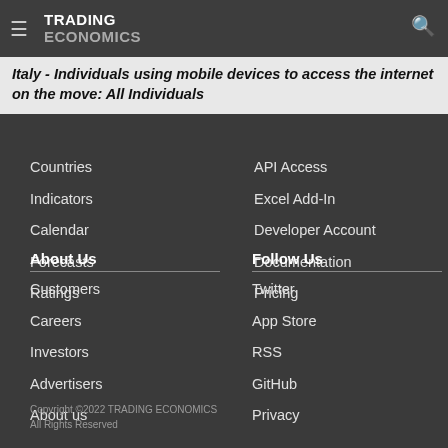TRADING ECONOMICS
Italy - Individuals using mobile devices to access the internet on the move: All Individuals
Countries
Indicators
Calendar
Forecasts
Ratings
API Access
Excel Add-In
Developer Account
Documentation
Pricing
About Us
Customers
Careers
Investors
Advertisers
About us
Follow Us
Twitter
App Store
RSS
GitHub
Privacy
Copyright ©2022 TRADING ECONOMICS
All Rights Reserved